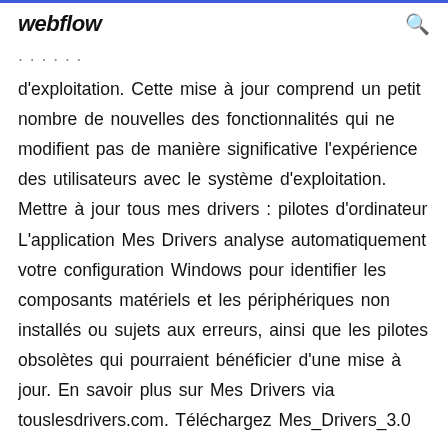webflow
d'exploitation. Cette mise à jour comprend un petit nombre de nouvelles des fonctionnalités qui ne modifient pas de manière significative l'expérience des utilisateurs avec le système d'exploitation. Mettre à jour tous mes drivers : pilotes d'ordinateur L'application Mes Drivers analyse automatiquement votre configuration Windows pour identifier les composants matériels et les périphériques non installés ou sujets aux erreurs, ainsi que les pilotes obsolètes qui pourraient bénéficier d'une mise à jour. En savoir plus sur Mes Drivers via touslesdrivers.com. Téléchargez Mes_Drivers_3.0